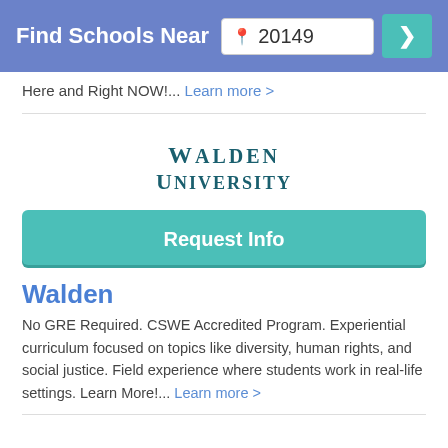Find Schools Near 20149
Here and Right NOW!... Learn more >
[Figure (logo): Walden University logo with stylized text in teal/dark green serif font]
Request Info
Walden
No GRE Required. CSWE Accredited Program. Experiential curriculum focused on topics like diversity, human rights, and social justice. Field experience where students work in real-life settings. Learn More!... Learn more >